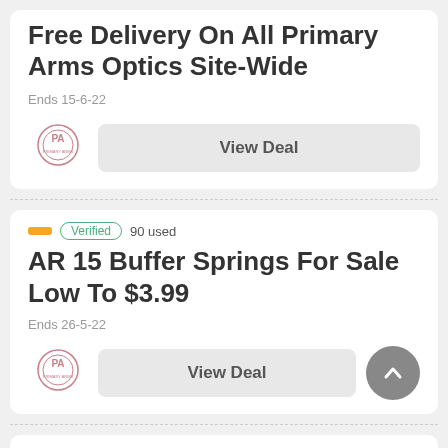Free Delivery On All Primary Arms Optics Site-Wide
Ends 15-6-22
[Figure (logo): Primary Arms PA logo]
View Deal
Verified   90 used
AR 15 Buffer Springs For Sale Low To $3.99
Ends 26-5-22
[Figure (logo): Primary Arms PA logo]
View Deal